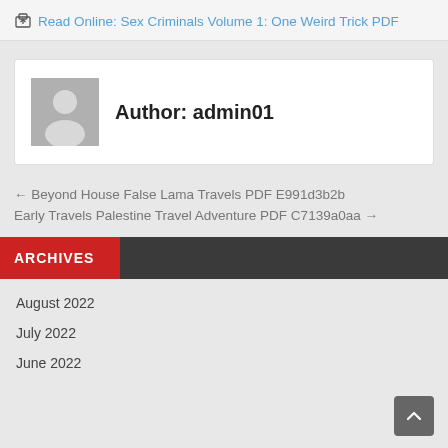Read Online: Sex Criminals Volume 1: One Weird Trick PDF
[Figure (illustration): Avatar placeholder icon (person silhouette) in grey box]
Author: admin01
← Beyond House False Lama Travels PDF E991d3b2b
Early Travels Palestine Travel Adventure PDF C7139a0aa →
ARCHIVES
August 2022
July 2022
June 2022